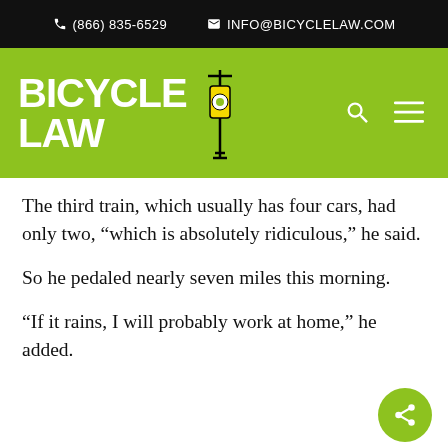(866) 835-6529  INFO@BICYCLELAW.COM
[Figure (logo): Bicycle Law logo with cyclist icon on green background, search and menu icons]
The third train, which usually has four cars, had only two, “which is absolutely ridiculous,” he said.
So he pedaled nearly seven miles this morning.
“If it rains, I will probably work at home,” he added.
Philly’s usually a bike-friendly city, said